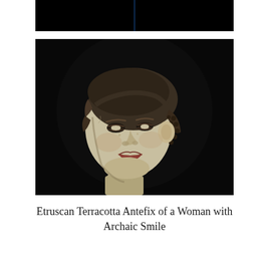[Figure (photo): Top portion of a dark rectangular photo, partially cut off, showing a black background with a faint blue vertical divider line in the center.]
[Figure (photo): An Etruscan terracotta antefix sculpture of a woman's face with an archaic smile. The face is light-colored clay with almond-shaped eyes, a subtle smile with slightly parted red lips, and textured dark hair styled in a rounded cap with beaded braids at the side. The background is solid black.]
Etruscan Terracotta Antefix of a Woman with Archaic Smile